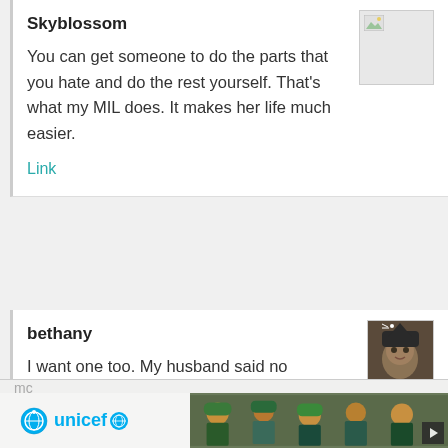Skyblossom
You can get someone to do the parts that you hate and do the rest yourself. That's what my MIL does. It makes her life much easier.
Link
bethany
I want one too. My husband said no 🙁 I just wanted someone to come once a
[Figure (photo): Avatar image of a cat dressed as a pirate]
[Figure (illustration): UNICEF advertisement banner with photo of children]
mc